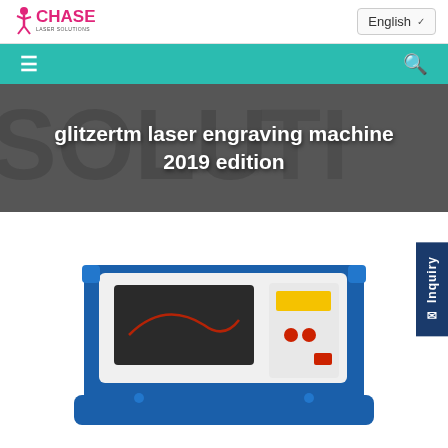CHASE laser solutions – English language selector
[Figure (logo): CHASE Laser Solutions logo with stylized running figure in pink/magenta]
[Figure (screenshot): Teal navigation menu bar with hamburger menu icon on left and search icon on right]
glitzertm laser engraving machine 2019 edition
[Figure (photo): Blue and white desktop laser engraving machine with viewing window and control panel with buttons, sitting on white background]